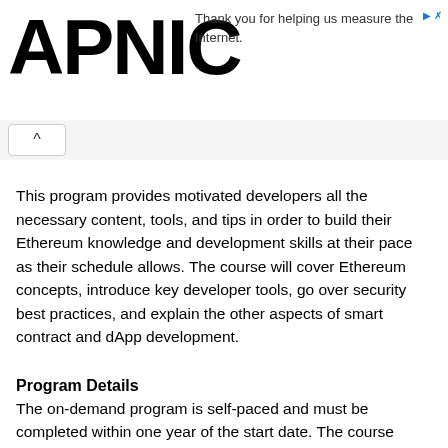APNIC — Thank you for helping us measure the Internet.
This program provides motivated developers all the necessary content, tools, and tips in order to build their Ethereum knowledge and development skills at their pace as their schedule allows. The course will cover Ethereum concepts, introduce key developer tools, go over security best practices, and explain the other aspects of smart contract and dApp development.
Program Details
The on-demand program is self-paced and must be completed within one year of the start date. The course